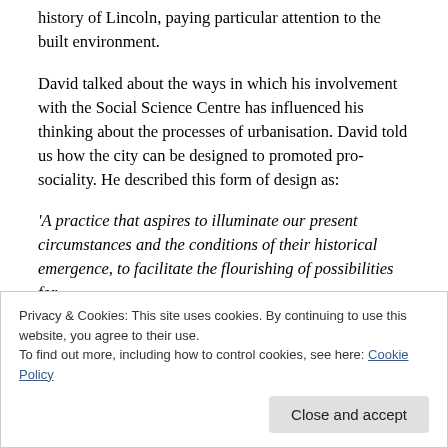history of Lincoln, paying particular attention to the built environment.
David talked about the ways in which his involvement with the Social Science Centre has influenced his thinking about the processes of urbanisation. David told us how the city can be designed to promoted pro-sociality. He described this form of design as:
'A practice that aspires to illuminate our present circumstances and the conditions of their historical emergence, to facilitate the flourishing of possibilities for
Privacy & Cookies: This site uses cookies. By continuing to use this website, you agree to their use.
To find out more, including how to control cookies, see here: Cookie Policy
Close and accept